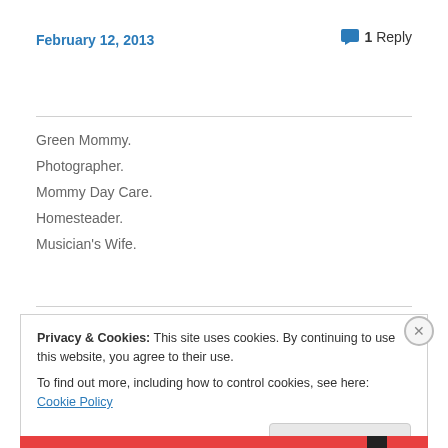February 12, 2013
1 Reply
Green Mommy.
Photographer.
Mommy Day Care.
Homesteader.
Musician's Wife.
Privacy & Cookies: This site uses cookies. By continuing to use this website, you agree to their use.
To find out more, including how to control cookies, see here: Cookie Policy